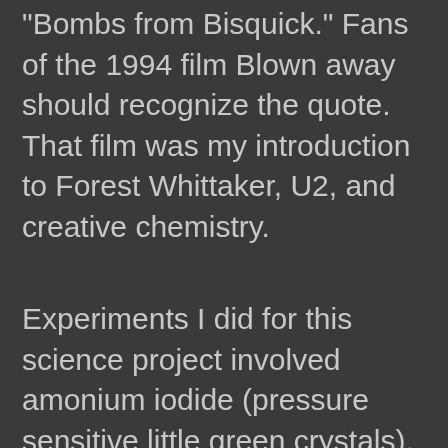"Bombs from Bisquick." Fans of the 1994 film Blown away should recognize the quote. That film was my introduction to Forest Whittaker, U2, and creative chemistry.
Experiments I did for this science project involved amonium iodide (pressure sensitive little green crystals), as well as a "magic trick" watching colored water shift, etc.
This of course, doesn't even include the